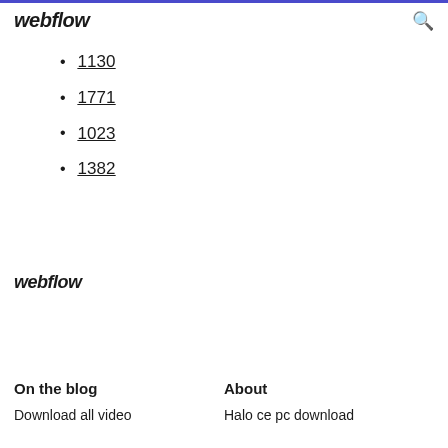webflow
1130
1771
1023
1382
webflow
On the blog
About
Download all video
Halo ce pc download